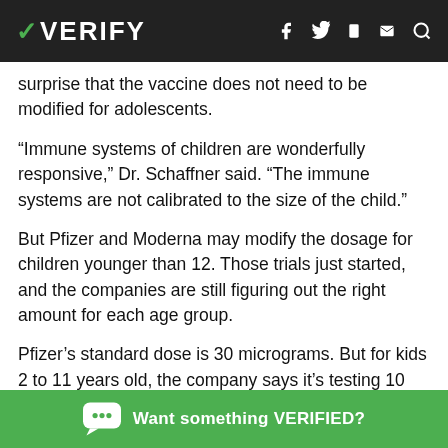VERIFY
surprise that the vaccine does not need to be modified for adolescents.
“Immune systems of children are wonderfully responsive,” Dr. Schaffner said. “The immune systems are not calibrated to the size of the child.”
But Pfizer and Moderna may modify the dosage for children younger than 12. Those trials just started, and the companies are still figuring out the right amount for each age group.
Pfizer’s standard dose is 30 micrograms. But for kids 2 to 11 years old, the company says it’s testing 10 micrograms, then moving up to 20 and 30, depending on the age group’s
Want something VERIFIED?